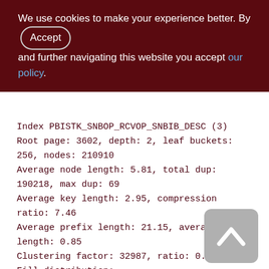We use cookies to make your experience better. By accepting and further navigating this website you accept our policy.
Index PBISTK_SNBOP_RCVOP_SNBIB_DESC (3)
Root page: 3602, depth: 2, leaf buckets: 256, nodes: 210910
Average node length: 5.81, total dup: 190218, max dup: 69
Average key length: 2.95, compression ratio: 7.46
Average prefix length: 21.15, average data length: 0.85
Clustering factor: 32987, ratio: 0.16
Fill distribution:
0 - 19% = 0
20 - 39% = 33
[Figure (other): Back to top button - grey rounded square with upward chevron arrow icon]